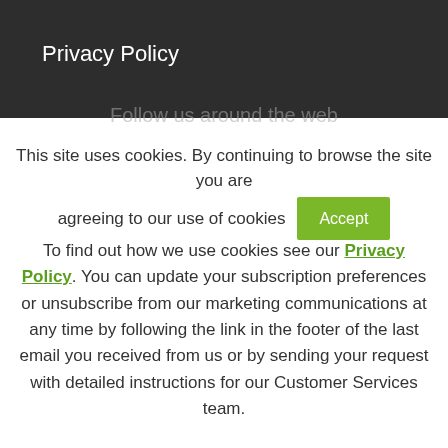Privacy Policy
Follow us around the web
This site uses cookies. By continuing to browse the site you are agreeing to our use of cookies
Accept
To find out how we use cookies see our Privacy Policy. You can update your subscription preferences or unsubscribe from our marketing communications at any time by following the link in the footer of the last email you received from us or by sending your request with detailed instructions for our Customer Services team.